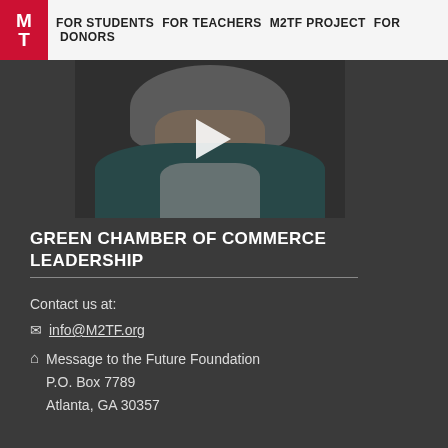M T | FOR STUDENTS   FOR TEACHERS   M2TF PROJECT   FOR DONORS
[Figure (photo): Video thumbnail showing a woman with gray hair wearing a teal cardigan and light shirt, with a semi-transparent play button overlay in the center.]
GREEN CHAMBER OF COMMERCE LEADERSHIP
Contact us at:
✉ info@M2TF.org
⌂ Message to the Future Foundation
P.O. Box 7789
Atlanta, GA 30357